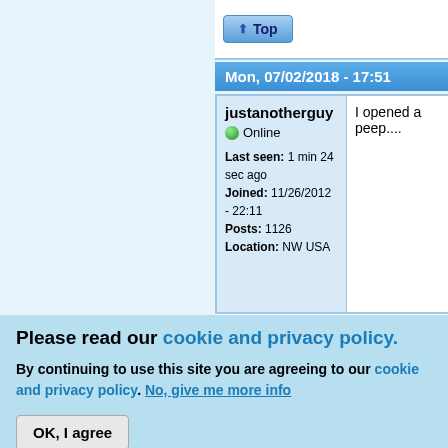[Figure (screenshot): Forum post interface showing a Top navigation button]
Mon, 07/02/2018 - 17:51
justanotherguy
Online
Last seen: 1 min 24 sec ago
Joined: 11/26/2012 - 22:11
Posts: 1126
Location: NW USA
I opened a peep....
Please read our cookie and privacy policy.
By continuing to use this site you are agreeing to our cookie and privacy policy. No, give me more info
OK, I agree